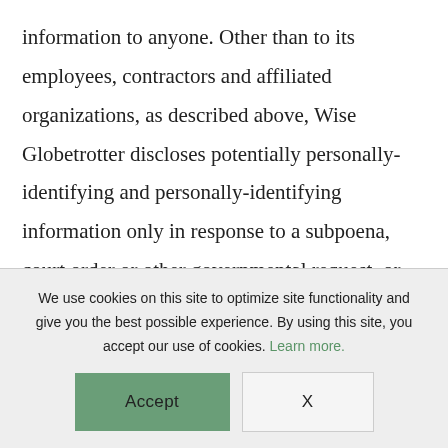information to anyone. Other than to its employees, contractors and affiliated organizations, as described above, Wise Globetrotter discloses potentially personally-identifying and personally-identifying information only in response to a subpoena, court order or other governmental request, or when Wise
We use cookies on this site to optimize site functionality and give you the best possible experience. By using this site, you accept our use of cookies. Learn more.